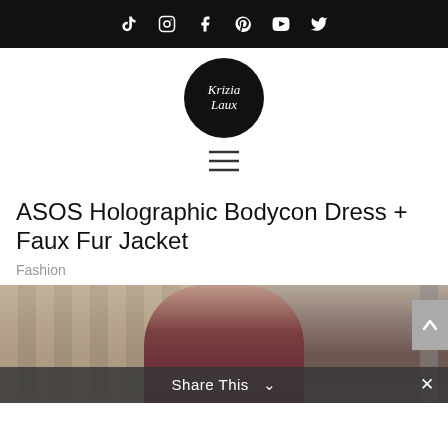Social media icons bar (TikTok, Instagram, Facebook, Pinterest, YouTube, Twitter)
[Figure (logo): Krizia Laux blog logo: circular black badge with cursive white text reading 'Krizia Laux']
[Figure (other): Hamburger menu icon (three horizontal lines)]
ASOS Holographic Bodycon Dress + Faux Fur Jacket
Fashion
[Figure (photo): Photo of a woman wearing a burgundy faux fur jacket over a holographic bodycon dress, standing outdoors on a street]
Share This ∨  ✕